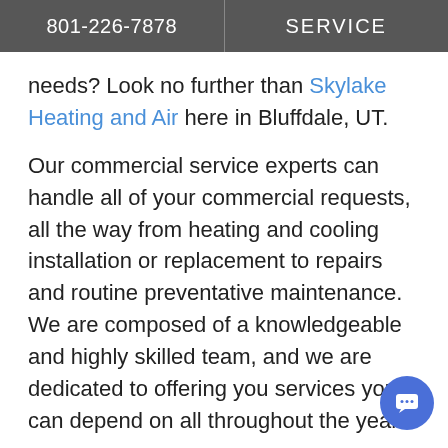801-226-7878  SERVICE
needs? Look no further than Skylake Heating and Air here in Bluffdale, UT.
Our commercial service experts can handle all of your commercial requests, all the way from heating and cooling installation or replacement to repairs and routine preventative maintenance. We are composed of a knowledgeable and highly skilled team, and we are dedicated to offering you services you can depend on all throughout the year.
Contact us at 801-226-7878 or request service online today.